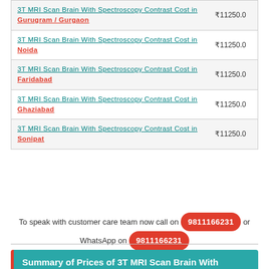| Service | Price |
| --- | --- |
| 3T MRI Scan Brain With Spectroscopy Contrast Cost in Gurugram / Gurgaon | ₹11250.0 |
| 3T MRI Scan Brain With Spectroscopy Contrast Cost in Noida | ₹11250.0 |
| 3T MRI Scan Brain With Spectroscopy Contrast Cost in Faridabad | ₹11250.0 |
| 3T MRI Scan Brain With Spectroscopy Contrast Cost in Ghaziabad | ₹11250.0 |
| 3T MRI Scan Brain With Spectroscopy Contrast Cost in Sonipat | ₹11250.0 |
To speak with customer care team now call on 9811166231 or WhatsApp on 9811166231
Summary of Prices of 3T MRI Scan Brain With Spectroscopy Contrast